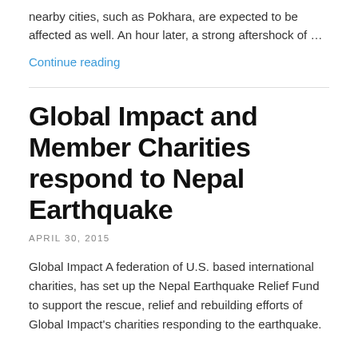nearby cities, such as Pokhara, are expected to be affected as well. An hour later, a strong aftershock of …
Continue reading
Global Impact and Member Charities respond to Nepal Earthquake
APRIL 30, 2015
Global Impact A federation of U.S. based international charities, has set up the Nepal Earthquake Relief Fund to support the rescue, relief and rebuilding efforts of Global Impact's charities responding to the earthquake.